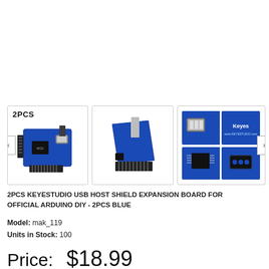[Figure (photo): Three product images of 2PCS Keyestudio USB Host Shield Expansion Board in blue. First image shows two boards with '2PCS' label, second shows single board angled view, third shows close-up details of USB port, chip, and connector in a 2x2 grid.]
2PCS KEYESTUDIO USB HOST SHIELD EXPANSION BOARD FOR OFFICIAL ARDUINO DIY - 2PCS BLUE
Model: mak_119
Units in Stock: 100
Price: $18.99